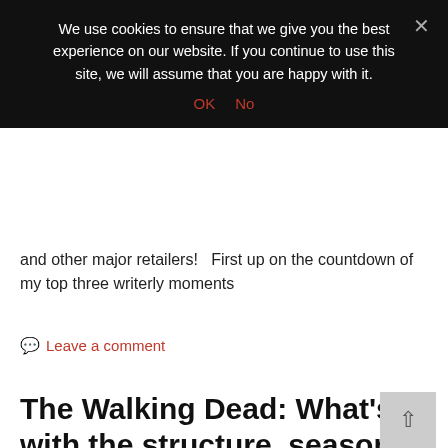We use cookies to ensure that we give you the best experience on our website. If you continue to use this site, we will assume that you are happy with it.
OK  No
and other major retailers!   First up on the countdown of my top three writerly moments
Leave a comment
The Walking Dead: What's with the structure, season 4?
2013-11-24  Watching  Potential Walking Dead, POV, The Walking Dead, TV, Walking Dead, work